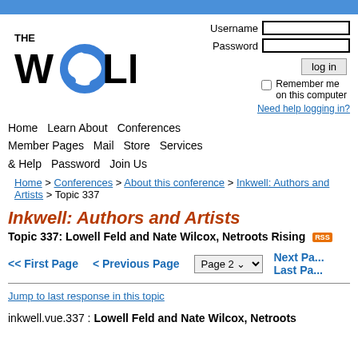[Figure (logo): THE WELL logo with blue swirl replacing the 'e' in WELL]
Username
Password
log in
Remember me on this computer
Need help logging in?
Home   Learn About   Conferences   Member Pages   Mail   Store   Services & Help   Password   Join Us
Home > Conferences > About this conference > Inkwell: Authors and Artists > Topic 337
Inkwell: Authors and Artists
Topic 337: Lowell Feld and Nate Wilcox, Netroots Rising
<< First Page   < Previous Page   Page 2   Next Page   Last Page
Jump to last response in this topic
inkwell.vue.337 : Lowell Feld and Nate Wilcox, Netroots